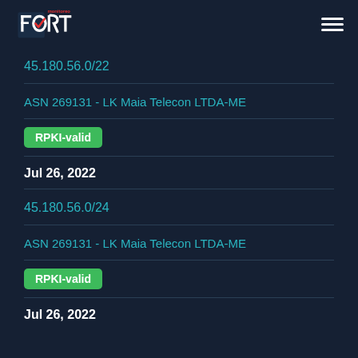[Figure (logo): Fort Monitoreo logo with checkmark icon]
45.180.56.0/22
ASN 269131 - LK Maia Telecon LTDA-ME
RPKI-valid
Jul 26, 2022
45.180.56.0/24
ASN 269131 - LK Maia Telecon LTDA-ME
RPKI-valid
Jul 26, 2022